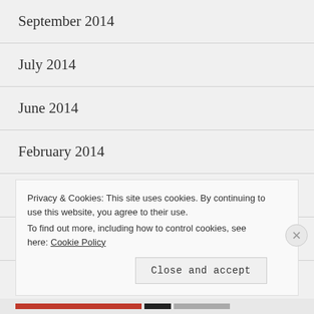September 2014
July 2014
June 2014
February 2014
January 2014
March 2013
January 2013
Privacy & Cookies: This site uses cookies. By continuing to use this website, you agree to their use. To find out more, including how to control cookies, see here: Cookie Policy
Close and accept